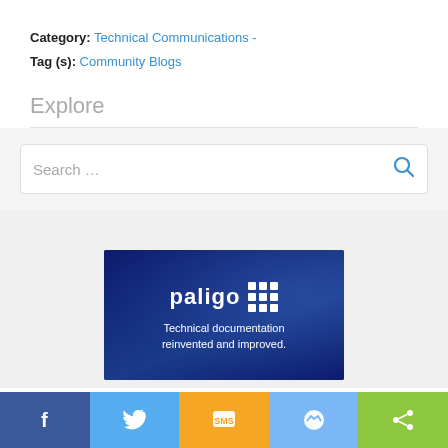Category: Technical Communications - Tag (s): Community Blogs
Explore
[Figure (screenshot): Search bar with placeholder text 'Search ...' and a blue search icon on the right]
[Figure (infographic): Paligo advertisement banner: dark blue background with 'paligo' logo and grid icon, tagline 'Technical documentation reinvented and improved.']
[Figure (infographic): Social sharing bar with Facebook, Twitter, SMS, Messenger, and Share buttons]